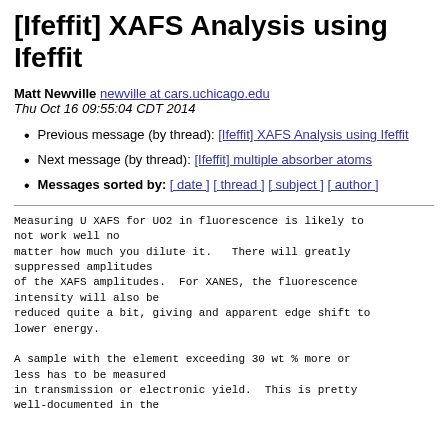[Ifeffit] XAFS Analysis using Ifeffit
Matt Newville newville at cars.uchicago.edu
Thu Oct 16 09:55:04 CDT 2014
Previous message (by thread): [Ifeffit] XAFS Analysis using Ifeffit
Next message (by thread): [Ifeffit] multiple absorber atoms
Messages sorted by: [ date ] [ thread ] [ subject ] [ author ]
Measuring U XAFS for UO2 in fluorescence is likely to not work well no
matter how much you dilute it.   There will greatly suppressed amplitudes
of the XAFS amplitudes.  For XANES, the fluorescence intensity will also be
reduced quite a bit, giving and apparent edge shift to lower energy.

A sample with the element exceeding 30 wt % more or less has to be measured
in transmission or electronic yield.  This is pretty well-documented in the